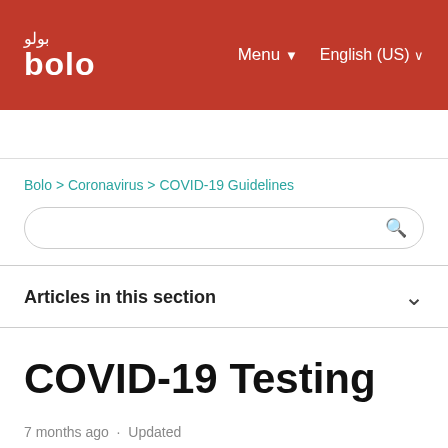bolo | Menu ▼ | English (US) ∨
Bolo > Coronavirus > COVID-19 Guidelines
Articles in this section
COVID-19 Testing
7 months ago · Updated